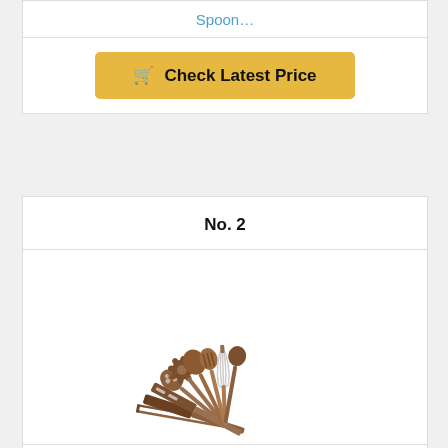Spoon…
Check Latest Price
No. 2
[Figure (photo): 10 wooden kitchen utensils fanned out in a semicircle including spatulas, spoons, a whisk, and tongs]
10 Pack Wooden Utensils for Cooking, Wood Utensil Set for Kitchen, Teak Wooden Spoon for Cooking,…
Check Latest Price